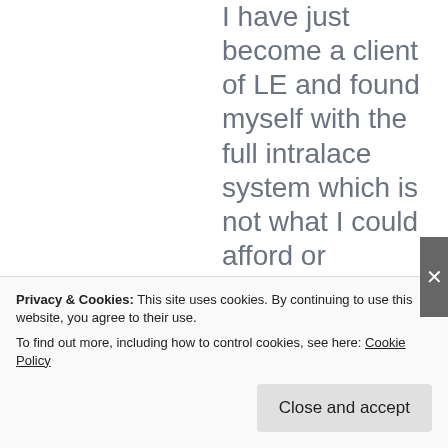I have just become a client of LE and found myself with the full intralace system which is not what I could afford or originally enquired about. I'm sure the minima could have suited my purpose but, as I kept telling the team at the salon, I don't know what to ask for or how it will turn out. I'm not the expert. If things go wrong then say “you agreed to have it” or “you chose it” but I didn’t feel that was the case. I was in their hands and when the final result made me look like a freak wearing a heavy wig I
Privacy & Cookies: This site uses cookies. By continuing to use this website, you agree to their use.
To find out more, including how to control cookies, see here: Cookie Policy